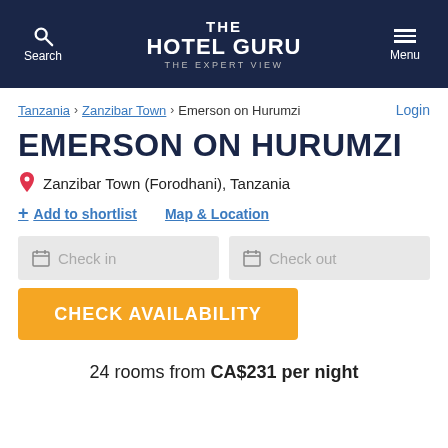THE HOTEL GURU — THE EXPERT VIEW
Tanzania > Zanzibar Town > Emerson on Hurumzi
EMERSON ON HURUMZI
Zanzibar Town (Forodhani), Tanzania
+ Add to shortlist    Map & Location
Check in   Check out
CHECK AVAILABILITY
24 rooms from CA$231 per night